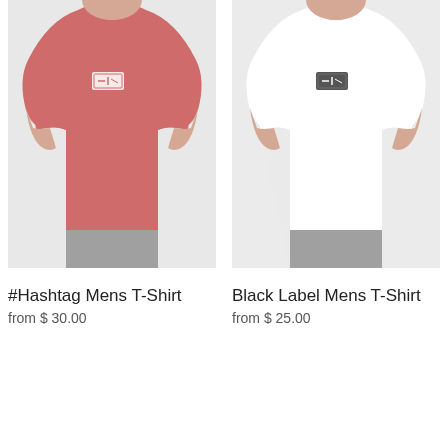[Figure (photo): Person wearing a pink/rose colored mens t-shirt with a small graphic label on the chest]
[Figure (photo): Person wearing a white mens t-shirt with a small black label graphic on the chest]
#Hashtag Mens T-Shirt
from $ 30.00
Black Label Mens T-Shirt
from $ 25.00